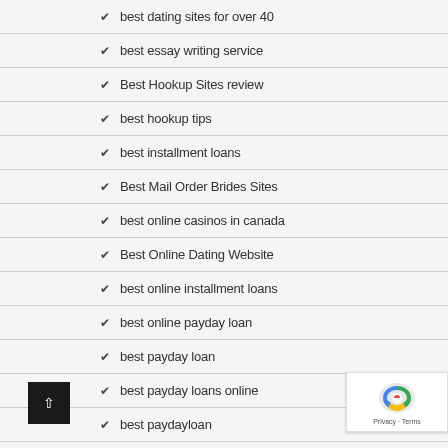best dating sites for over 40
best essay writing service
Best Hookup Sites review
best hookup tips
best installment loans
Best Mail Order Brides Sites
best online casinos in canada
Best Online Dating Website
best online installment loans
best online payday loan
best payday loan
best payday loans online
best paydayloan